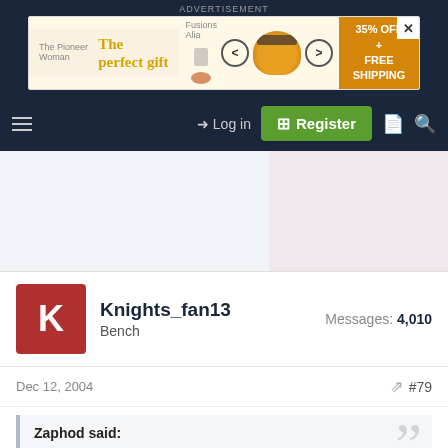[Figure (screenshot): Advertisement banner: 'The perfect gift' with bowl of food imagery and '35% OFF + FREE SHIPPING' offer]
ADVERTISEMENT
Log in | Register
[Figure (screenshot): Forum content area with light blue and light pink split background]
Knights_fan13
Bench
Messages: 4,010
Dec 12, 2004  #79
Zaphod said:
the homer simpson thing wont be back in a hurry 😀